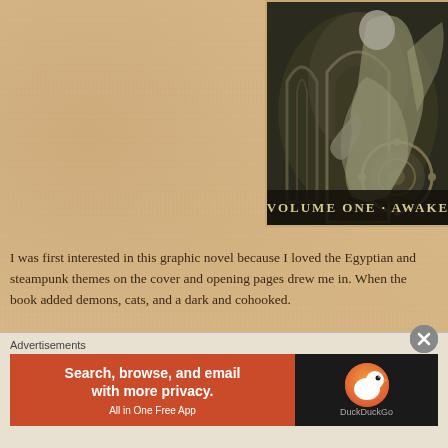[Figure (illustration): Partial view of a graphic novel cover showing detailed fantasy/steampunk art with a robed figure, architectural elements, and text reading 'VOLUME ONE · AWAKE' at the bottom]
I was first interested in this graphic novel because I loved the Egyptian and steampunk themes on the cover and opening pages drew me in. When the book added demons, cats, and a dark and compelling story, I was hooked.
Advertisements
[Figure (screenshot): Partial advertisement showing text 'Need a website qui...' on a light gray background, partially cut off]
Advertisements
[Figure (screenshot): DuckDuckGo advertisement banner with orange-red background on left showing 'Search, browse, and email with more privacy. All in One Free App' and black background on right with DuckDuckGo duck logo and brand name]